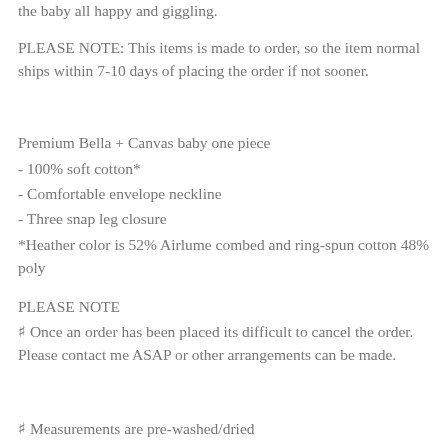the baby all happy and giggling.
PLEASE NOTE: This items is made to order, so the item normal ships within 7-10 days of placing the order if not sooner.
Premium Bella + Canvas baby one piece
- 100% soft cotton*
- Comfortable envelope neckline
- Three snap leg closure
*Heather color is 52% Airlume combed and ring-spun cotton 48% poly
PLEASE NOTE
☞ Once an order has been placed its difficult to cancel the order. Please contact me ASAP or other arrangements can be made.
☞ Measurements are pre-washed/dried